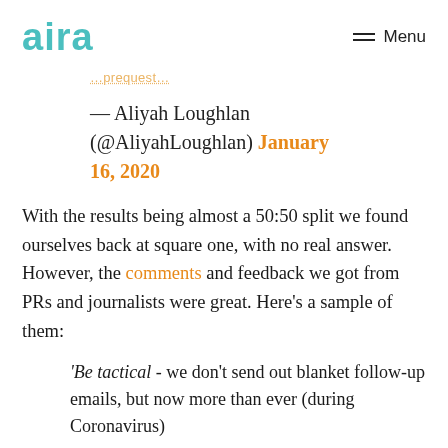aira   Menu
— Aliyah Loughlan (@AliyahLoughlan) January 16, 2020
With the results being almost a 50:50 split we found ourselves back at square one, with no real answer. However, the comments and feedback we got from PRs and journalists were great. Here's a sample of them:
'Be tactical - we don't send out blanket follow-up emails, but now more than ever (during Coronavirus)